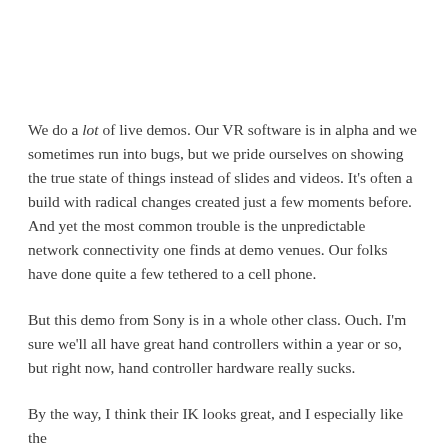We do a lot of live demos. Our VR software is in alpha and we sometimes run into bugs, but we pride ourselves on showing the true state of things instead of slides and videos. It's often a build with radical changes created just a few moments before. And yet the most common trouble is the unpredictable network connectivity one finds at demo venues. Our folks have done quite a few tethered to a cell phone.
But this demo from Sony is in a whole other class. Ouch. I'm sure we'll all have great hand controllers within a year or so, but right now, hand controller hardware really sucks.
By the way, I think their IK looks great, and I especially like the